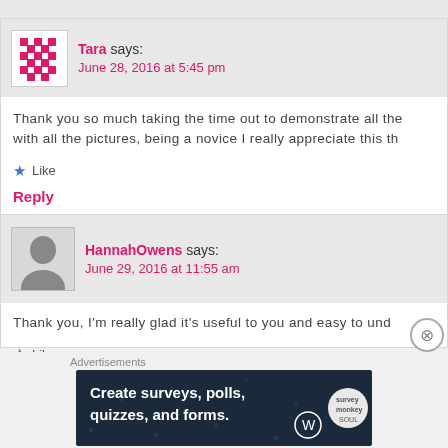Tara says: June 28, 2016 at 5:45 pm
Thank you so much taking the time out to demonstrate all the with all the pictures, being a novice I really appreciate this th
Like
Reply
HannahOwens says: June 29, 2016 at 11:55 am
Thank you, I'm really glad it's useful to you and easy to und
Like
Reply
Advertisements
[Figure (infographic): Advertisement banner: Create surveys, polls, quizzes, and forms. Dark navy background with WordPress logo and circular Survey Monkey-style logo.]